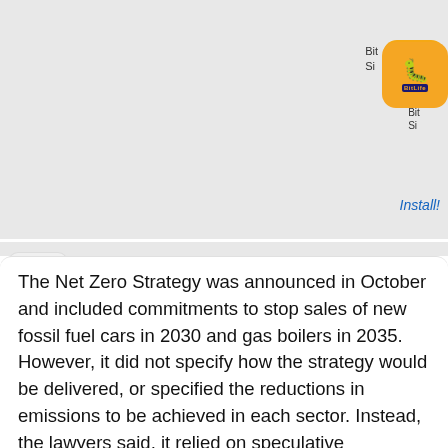[Figure (screenshot): Mobile advertisement banner for BitLife game showing a bank robbery game screen with 'Need cash quick...' headline, Ad label, game UI elements, BitLife app icon, and Install! button]
The Net Zero Strategy was announced in October and included commitments to stop sales of new fossil fuel cars in 2030 and gas boilers in 2035. However, it did not specify how the strategy would be delivered, or specified the reductions in emissions to be achieved in each sector. Instead, the lawyers said, it relied on speculative technologies such as carbon-free aviation fuels and the extraction of carbon dioxide directly from the air and its burial.